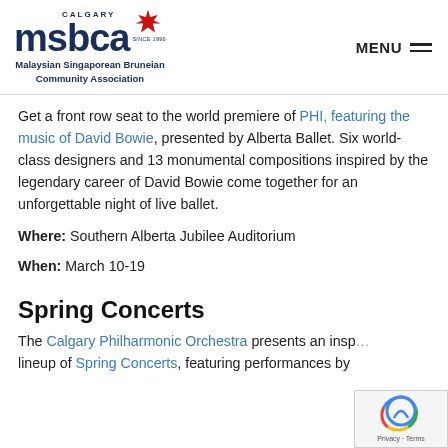[Figure (logo): Calgary MSBCA (Malaysian Singaporean Bruneian Community Association) logo with maple leaf, navy blue text, and subtitle]
Get a front row seat to the world premiere of PHI, featuring the music of David Bowie, presented by Alberta Ballet. Six world-class designers and 13 monumental compositions inspired by the legendary career of David Bowie come together for an unforgettable night of live ballet.
Where: Southern Alberta Jubilee Auditorium
When: March 10-19
Spring Concerts
The Calgary Philharmonic Orchestra presents an inspiring lineup of Spring Concerts, featuring performances by